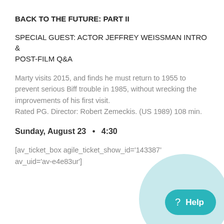BACK TO THE FUTURE: PART II
SPECIAL GUEST: ACTOR JEFFREY WEISSMAN INTRO & POST-FILM Q&A
Marty visits 2015, and finds he must return to 1955 to prevent serious Biff trouble in 1985, without wrecking the improvements of his first visit.
Rated PG. Director: Robert Zemeckis. (US 1989) 108 min.
Sunday, August 23  •  4:30
[av_ticket_box agile_ticket_show_id='143387' av_uid='av-e4e83ur']